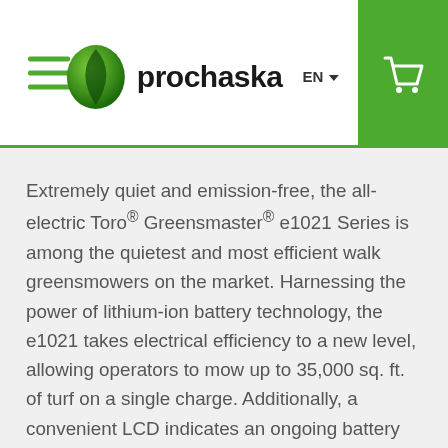prochaska EN
Extremely quiet and emission-free, the all-electric Toro® Greensmaster® e1021 Series is among the quietest and most efficient walk greensmowers on the market. Harnessing the power of lithium-ion battery technology, the e1021 takes electrical efficiency to a new level, allowing operators to mow up to 35,000 sq. ft. of turf on a single charge. Additionally, a convenient LCD indicates an ongoing battery charge status and also displays useful information such as machine hours, diagnostics, and overall battery health. These units are designed for minimal maintenace and long, productive life saving labor and